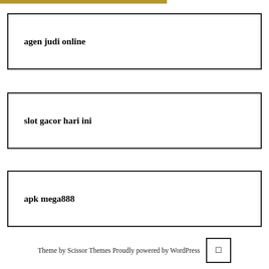agen judi online
slot gacor hari ini
apk mega888
Theme by Scissor Themes Proudly powered by WordPress